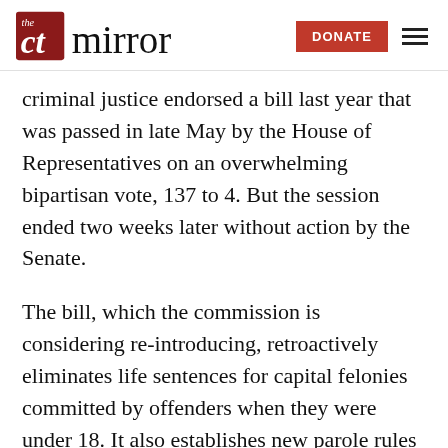The CT Mirror | DONATE
criminal justice endorsed a bill last year that was passed in late May by the House of Representatives on an overwhelming bipartisan vote, 137 to 4. But the session ended two weeks later without action by the Senate.
The bill, which the commission is considering re-introducing, retroactively eliminates life sentences for capital felonies committed by offenders when they were under 18. It also establishes new parole rules for offenders under 18 who are sentenced to more than 10